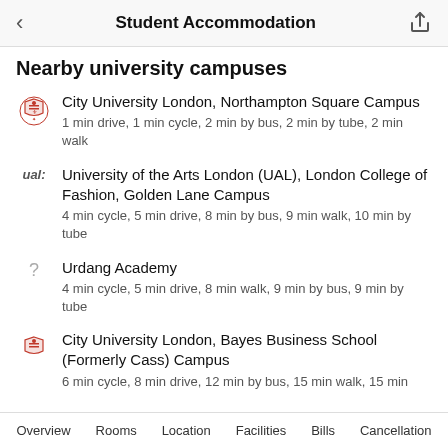Student Accommodation
Nearby university campuses
City University London, Northampton Square Campus
1 min drive, 1 min cycle, 2 min by bus, 2 min by tube, 2 min walk
University of the Arts London (UAL), London College of Fashion, Golden Lane Campus
4 min cycle, 5 min drive, 8 min by bus, 9 min walk, 10 min by tube
Urdang Academy
4 min cycle, 5 min drive, 8 min walk, 9 min by bus, 9 min by tube
City University London, Bayes Business School (Formerly Cass) Campus
6 min cycle, 8 min drive, 12 min by bus, 15 min walk, 15 min
Overview  Rooms  Location  Facilities  Bills  Cancellation